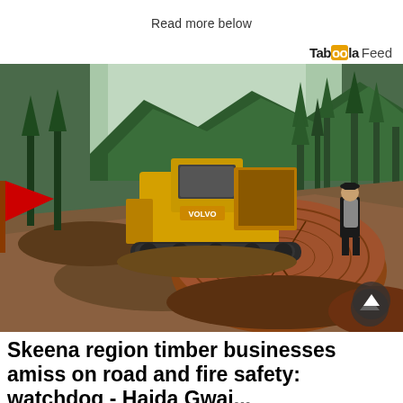Read more below
Taboola Feed
[Figure (photo): A yellow Volvo bulldozer/dump truck on a muddy forest road surrounded by trees and mountains. In the foreground are large cut tree stumps. Two people stand on the right watching. A red flag is visible on the left.]
Skeena region timber businesses amiss on road and fire safety: watchdog - Haida Gwai...